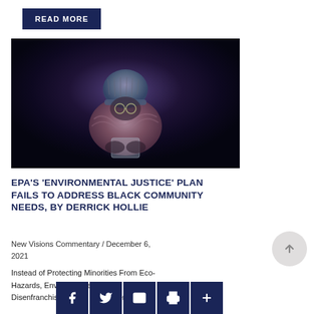READ MORE
[Figure (photo): Dark atmospheric photo of a person wearing a knit hat and scarf, face partially illuminated, looking down at a glowing device in their hands against a very dark background.]
EPA'S ‘ENVIRONMENTAL JUSTICE’ PLAN FAILS TO ADDRESS BLACK COMMUNITY NEEDS, BY DERRICK HOLLIE
New Visions Commentary / December 6, 2021
Instead of Protecting Minorities From Eco-Hazards, Environmental Justice Disenfranchises Them Fundamentally...